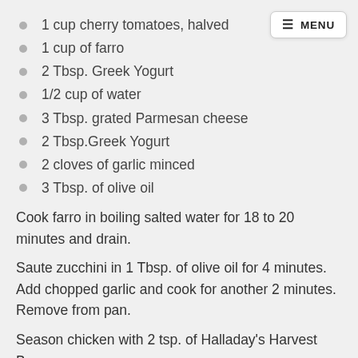1 cup cherry tomatoes, halved
1 cup of farro
2 Tbsp. Greek Yogurt
1/2 cup of water
3 Tbsp. grated Parmesan cheese
2 Tbsp.Greek Yogurt
2 cloves of garlic minced
3 Tbsp. of olive oil
Cook farro in boiling salted water for 18 to 20 minutes and drain.
Saute zucchini in 1 Tbsp. of olive oil for 4 minutes. Add chopped garlic and cook for another 2 minutes. Remove from pan.
Season chicken with 2 tsp. of Halladay's Harvest Barn